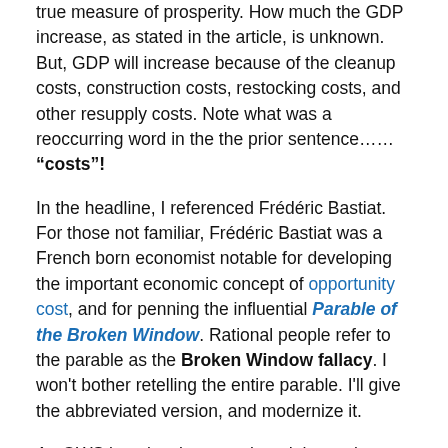true measure of prosperity. How much the GDP increase, as stated in the article, is unknown. But, GDP will increase because of the cleanup costs, construction costs, restocking costs, and other resupply costs. Note what was a reoccurring word in the the prior sentence……. "costs"!
In the headline, I referenced Frédéric Bastiat. For those not familiar, Frédéric Bastiat was a French born economist notable for developing the important economic concept of opportunity cost, and for penning the influential Parable of the Broken Window. Rational people refer to the parable as the Broken Window fallacy. I won't bother retelling the entire parable. I'll give the abbreviated version, and modernize it.
An OWS lunatic takes a rock and throws it through a shop keepers window. The shop keeper has to buy a new...